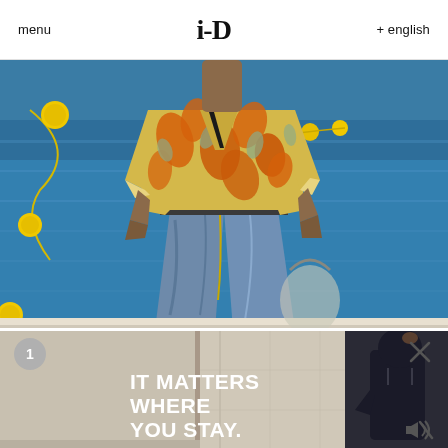menu  i-D  + english
[Figure (photo): Fashion photo of a person walking near water, wearing a yellow and orange floral/tropical print shirt with blue wide-leg denim trousers, yellow string belt, with yellow buoys visible in the background on blue water]
[Figure (photo): Advertisement video banner showing a person in a dark hoodie in a beige/neutral interior space with text overlay reading IT MATTERS WHERE YOU STAY. with a numbered badge (1) in top left, close X button in top right, and mute icon bottom right]